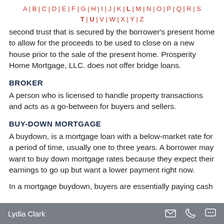A | B | C | D | E | F | G | H | I | J | K | L | M | N | O | P | Q | R | S
T | U | V | W | X | Y | Z
second trust that is secured by the borrower's present home to allow for the proceeds to be used to close on a new house prior to the sale of the present home. Prosperity Home Mortgage, LLC. does not offer bridge loans.
BROKER
A person who is licensed to handle property transactions and acts as a go-between for buyers and sellers.
BUY-DOWN MORTGAGE
A buydown, is a mortgage loan with a below-market rate for a period of time, usually one to three years. A borrower may want to buy down mortgage rates because they expect their earnings to go up but want a lower payment right now.
In a mortgage buydown, buyers are essentially paying cash
Lydia Clark